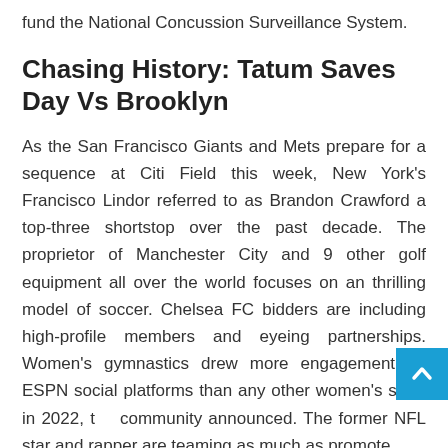fund the National Concussion Surveillance System.
Chasing History: Tatum Saves Day Vs Brooklyn
As the San Francisco Giants and Mets prepare for a sequence at Citi Field this week, New York's Francisco Lindor referred to as Brandon Crawford a top-three shortstop over the past decade. The proprietor of Manchester City and 9 other golf equipment all over the world focuses on an thrilling model of soccer. Chelsea FC bidders are including high-profile members and eyeing partnerships. Women's gymnastics drew more engagement on ESPN social platforms than any other women's sport in 2022, the community announced. The former NFL star and rapper are teaming as much as promote